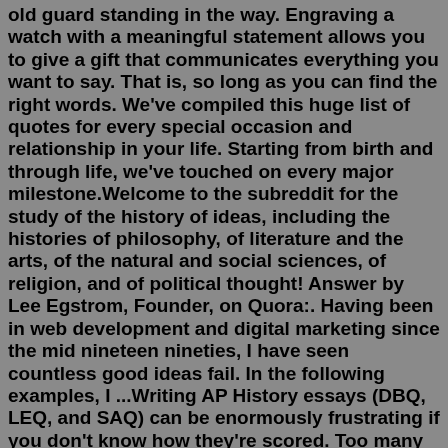old guard standing in the way. Engraving a watch with a meaningful statement allows you to give a gift that communicates everything you want to say. That is, so long as you can find the right words. We've compiled this huge list of quotes for every special occasion and relationship in your life. Starting from birth and through life, we've touched on every major milestone.Welcome to the subreddit for the study of the history of ideas, including the histories of philosophy, of literature and the arts, of the natural and social sciences, of religion, and of political thought! Answer by Lee Egstrom, Founder, on Quora:. Having been in web development and digital marketing since the mid nineteen nineties, I have seen countless good ideas fail. In the following examples, I ...Writing AP History essays (DBQ, LEQ, and SAQ) can be enormously frustrating if you don't know how they're scored. Too many students feel defeated when they sit down to write their essays. I care about that frustration and I want to help. As someone who has scored AP essays on the national level, I have a plan to